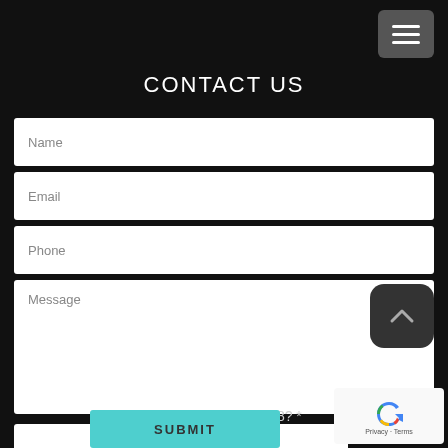[Figure (other): Hamburger menu icon button in top-right corner, dark gray rounded square with three white horizontal bars]
CONTACT US
Name
Email
Phone
Message
[Figure (other): Scroll-to-top button, dark gray rounded square with upward chevron]
Which is bigger, 3 or 8? *
[Figure (other): Google reCAPTCHA badge showing logo and Privacy & Terms text]
SUBMIT